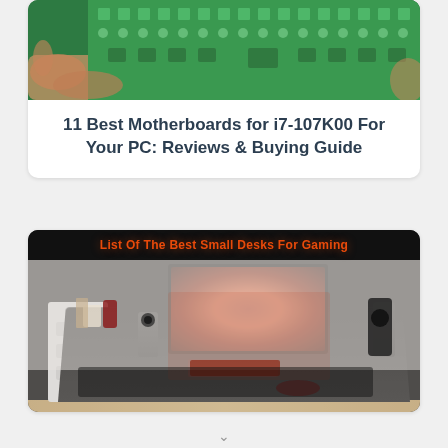[Figure (photo): Close-up photo of a green circuit board (PCB) with components, held by a human hand]
11 Best Motherboards for i7-107K00 For Your PC: Reviews & Buying Guide
[Figure (photo): Gaming desk setup photo with black desk, monitor showing red flame graphic, speakers, keyboard, white cabinet drawers, and text banner 'List Of The Best Small Desks For Gaming']